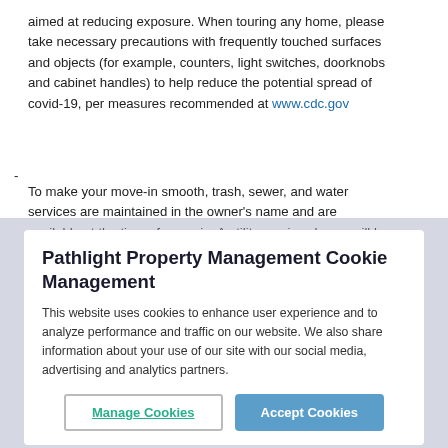aimed at reducing exposure. When touring any home, please take necessary precautions with frequently touched surfaces and objects (for example, counters, light switches, doorknobs and cabinet handles) to help reduce the potential spread of covid-19, per measures recommended at www.cdc.gov
-
To make your move-in smooth, trash, sewer, and water services are maintained in the owner's name and are available at the time of move-in. A utility service charge will be charged monthly, along with a one-time fee; all other utilities, such as electricity and gas, need to be maintained in the resident's
Pathlight Property Management Cookie Management
This website uses cookies to enhance user experience and to analyze performance and traffic on our website. We also share information about your use of our site with our social media, advertising and analytics partners.